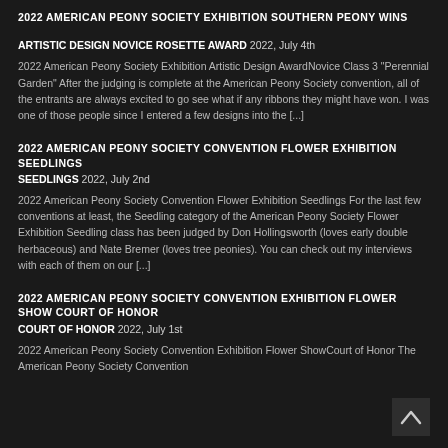2022 AMERICAN PEONY SOCIETY EXHIBITION SOUTHERN PEONY WINS
ARTISTIC DESIGN NOVICE ROSETTE AWARD 2022, July 4th
2022 American Peony Society Exhibition Artistic Design AwardNovice Class 3 "Perennial Garden" After the judging is complete at the American Peony Society convention, all of the entrants are always excited to go see what if any ribbons they might have won. I was one of those people since I entered a few designs into the [...]
2022 AMERICAN PEONY SOCIETY CONVENTION FLOWER EXHIBITION SEEDLINGS
SEEDLINGS 2022, July 2nd
2022 American Peony Society Convention Flower Exhibition Seedlings For the last few conventions at least, the Seedling category of the American Peony Society Flower Exhibition Seedling class has been judged by Don Hollingsworth (loves early double herbaceous) and Nate Bremer (loves tree peonies). You can check out my interviews with each of them on our [...]
2022 AMERICAN PEONY SOCIETY CONVENTION EXHIBITION FLOWER SHOW COURT OF HONOR
COURT OF HONOR 2022, July 1st
2022 American Peony Society Convention Exhibition Flower ShowCourt of Honor The American Peony Society Convention